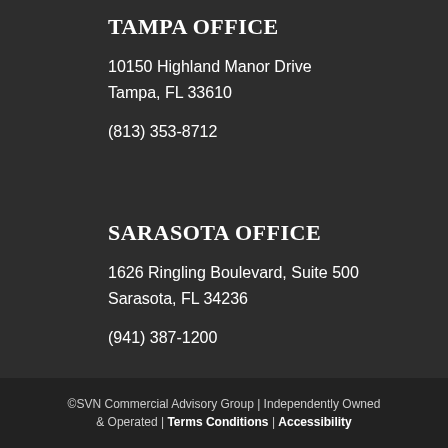TAMPA OFFICE
10150 Highland Manor Drive
Tampa, FL 33610
(813) 353-8712
SARASOTA OFFICE
1626 Ringling Boulevard, Suite 500
Sarasota, FL 34236
(941) 387-1200
©SVN Commercial Advisory Group | Independently Owned & Operated | Terms Conditions | Accessibility